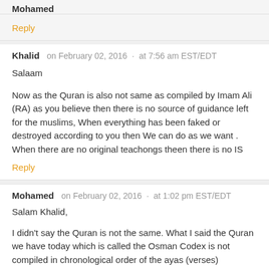Mohamed
Reply
Khalid   on February 02, 2016  ·  at 7:56 am EST/EDT
Salaam
Now as the Quran is also not same as compiled by Imam Ali (RA) as you believe then there is no source of guidance left for the muslims, When everything has been faked or destroyed according to you then We can do as we want . When there are no original teachongs theen there is no IS
Reply
Mohamed   on February 02, 2016  ·  at 1:02 pm EST/EDT
Salam Khalid,
I didn't say the Quran is not the same. What I said the Quran we have today which is called the Osman Codex is not compiled in chronological order of the ayas (verses) revealed.
This simple fact is not known by most Muslims. Maybe, it is